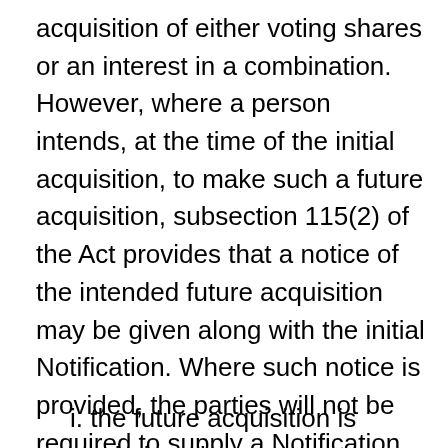acquisition of either voting shares or an interest in a combination. However, where a person intends, at the time of the initial acquisition, to make such a future acquisition, subsection 115(2) of the Act provides that a notice of the intended future acquisition may be given along with the initial Notification. Where such notice is provided, the parties will not be required to supply a Notification under section 114 for the future acquisition if two conditions are met:
i. the future acquisition is carried out in